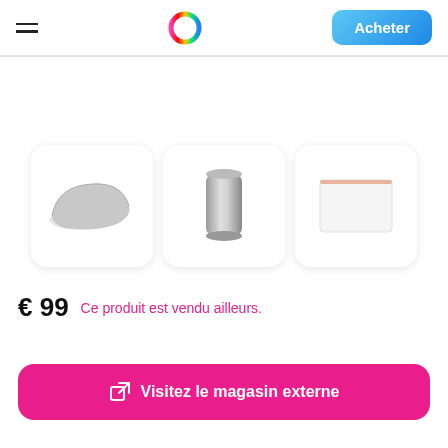Acheter
[Figure (illustration): Three product thumbnail cards showing: 1) An Apple Magic Mouse (side view, silver), 2) A Mac Pro tower (silver cylindrical), 3) A white rectangular Apple product with rose-gold trim]
€ 99  Ce produit est vendu ailleurs.
Visitez le magasin externe